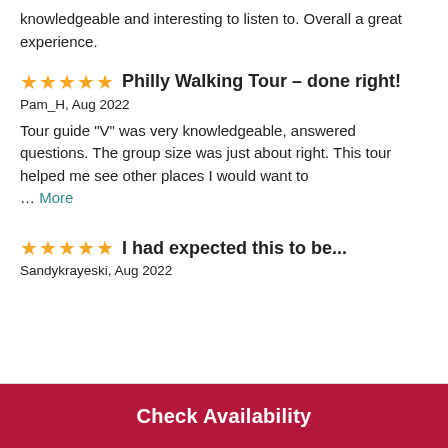knowledgeable and interesting to listen to. Overall a great experience.
Philly Walking Tour – done right!
Pam_H, Aug 2022
Tour guide "V" was very knowledgeable, answered questions. The group size was just about right. This tour helped me see other places I would want to … More
I had expected this to be...
Sandykrayeski, Aug 2022
Check Availability